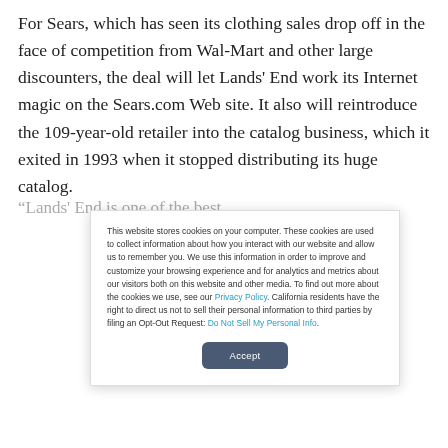For Sears, which has seen its clothing sales drop off in the face of competition from Wal-Mart and other large discounters, the deal will let Lands' End work its Internet magic on the Sears.com Web site. It also will reintroduce the 109-year-old retailer into the catalog business, which it exited in 1993 when it stopped distributing its huge catalog.
This website stores cookies on your computer. These cookies are used to collect information about how you interact with our website and allow us to remember you. We use this information in order to improve and customize your browsing experience and for analytics and metrics about our visitors both on this website and other media. To find out more about the cookies we use, see our Privacy Policy. California residents have the right to direct us not to sell their personal information to third parties by filing an Opt-Out Request: Do Not Sell My Personal Info.